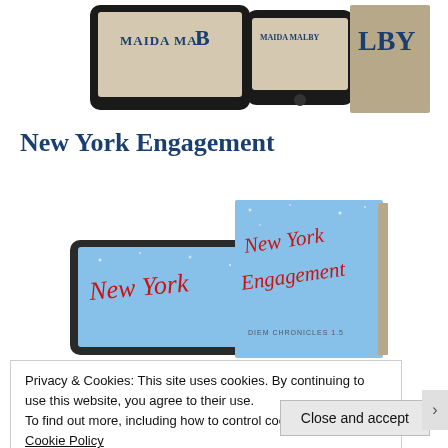[Figure (photo): Top portion of a webpage showing book covers/devices with author name 'MAIDA MALBY' visible on multiple book displays including a tablet, phone, and physical book]
New York Engagement
[Figure (photo): Book cover and device mockups for 'New York Engagement' by Maida Malby - Diem Chronicles 1.5, showing the title in red script on a blue background with snow/stars, displayed on a tablet and as a physical book]
Privacy & Cookies: This site uses cookies. By continuing to use this website, you agree to their use.
To find out more, including how to control cookies, see here: Cookie Policy
Close and accept